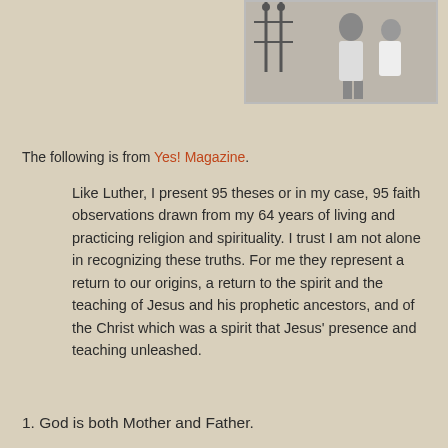[Figure (photo): Black and white photograph of a person standing near a gate or fence, partially visible at top right of page]
The following is from Yes! Magazine.
Like Luther, I present 95 theses or in my case, 95 faith observations drawn from my 64 years of living and practicing religion and spirituality. I trust I am not alone in recognizing these truths. For me they represent a return to our origins, a return to the spirit and the teaching of Jesus and his prophetic ancestors, and of the Christ which was a spirit that Jesus' presence and teaching unleashed.
1. God is both Mother and Father.